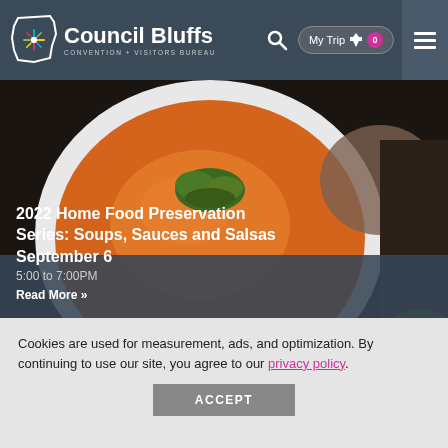Council Bluffs Convention + Visitors Bureau — My Trip 0
[Figure (screenshot): Photo of orange tomato soup in a white bowl garnished with green herbs, on a dark background with basil leaves]
2022 Home Food Preservation Series: Soups, Sauces and Salsas
September 6
5:00 to 7:00PM
Read More »
Cookies are used for measurement, ads, and optimization. By continuing to use our site, you agree to our privacy policy.
ACCEPT